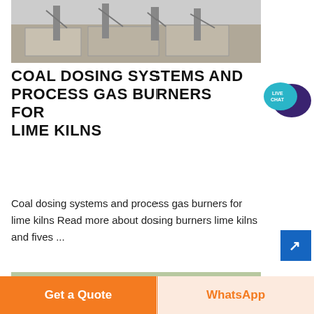[Figure (photo): Industrial facility with equipment structures, viewed from above, showing concrete slabs and metal frames]
COAL DOSING SYSTEMS AND PROCESS GAS BURNERS FOR LIME KILNS
[Figure (illustration): Live Chat bubble icon in teal/purple colors]
Coal dosing systems and process gas burners for lime kilns Read more about dosing burners lime kilns and fives ...
[Figure (photo): Industrial construction site with a red crane and yellow machinery, conveyor structures, and hillside in background]
[Figure (illustration): Blue square button with white arrow icon pointing upper-right]
Get a Quote
WhatsApp